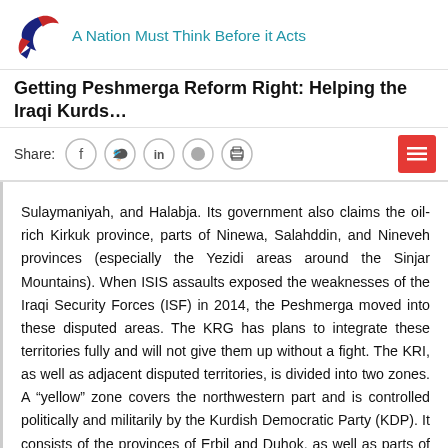A Nation Must Think Before it Acts
Getting Peshmerga Reform Right: Helping the Iraqi Kurds...
Share:
Sulaymaniyah, and Halabja. Its government also claims the oil-rich Kirkuk province, parts of Ninewa, Salahddin, and Nineveh provinces (especially the Yezidi areas around the Sinjar Mountains). When ISIS assaults exposed the weaknesses of the Iraqi Security Forces (ISF) in 2014, the Peshmerga moved into these disputed areas. The KRG has plans to integrate these territories fully and will not give them up without a fight. The KRI, as well as adjacent disputed territories, is divided into two zones. A “yellow” zone covers the northwestern part and is controlled politically and militarily by the Kurdish Democratic Party (KDP). It consists of the provinces of Erbil and Duhok, as well as parts of Nineveh, such as Sinjar. The “green” zone